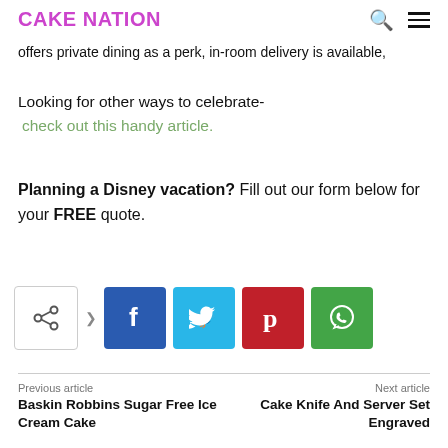CAKE NATION
offers private dining as a perk, in-room delivery is available,
Looking for other ways to celebrate-
check out this handy article.
Planning a Disney vacation? Fill out our form below for your FREE quote.
[Figure (infographic): Social share buttons row: native share icon, Facebook, Twitter, Pinterest, WhatsApp]
Previous article
Baskin Robbins Sugar Free Ice Cream Cake
Next article
Cake Knife And Server Set Engraved